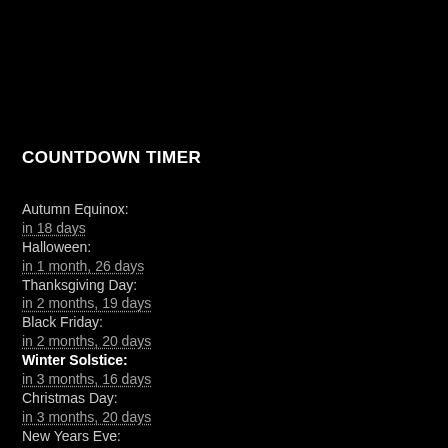COUNTDOWN TIMER
Autumn Equinox:
in 18 days
Halloween:
in 1 month, 26 days
Thanksgiving Day:
in 2 months, 19 days
Black Friday:
in 2 months, 20 days
Winter Solstice:
in 3 months, 16 days
Christmas Day:
in 3 months, 20 days
New Years Eve:
in 3 months, 26 days
New Years Day:
in 3 months, 26 days